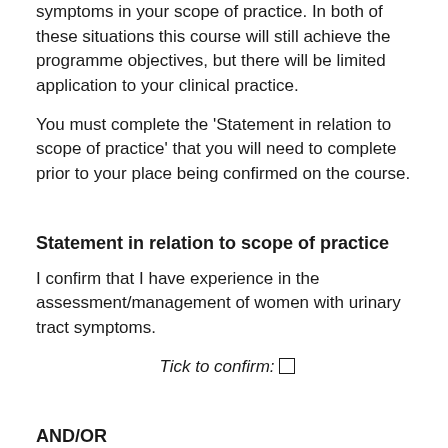symptoms in your scope of practice. In both of these situations this course will still achieve the programme objectives, but there will be limited application to your clinical practice.
You must complete the 'Statement in relation to scope of practice' that you will need to complete prior to your place being confirmed on the course.
Statement in relation to scope of practice
I confirm that I have experience in the assessment/management of women with urinary tract symptoms.
Tick to confirm: □
AND/OR
I confirm that I am competent in the clinical skill of ano-